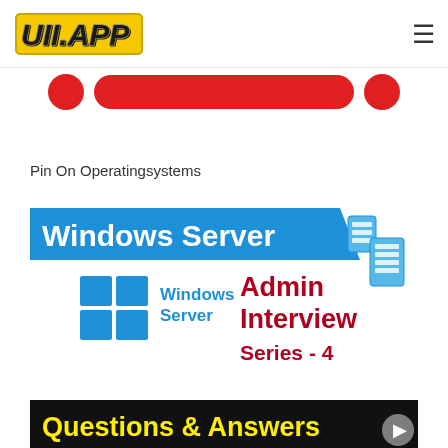UII.APP
[Figure (screenshot): Red pill/circle decorative button shapes at top of page]
Pin On Operatingsystems
[Figure (screenshot): Windows Server Admin Interview Series - 4 Questions & Answers promotional image with blue Windows Server logo and text on white/black background]